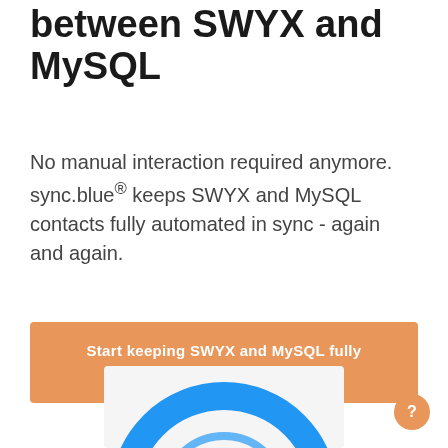between SWYX and MySQL
No manual interaction required anymore. sync.blue® keeps SWYX and MySQL contacts fully automated in sync - again and again.
Start keeping SWYX and MySQL fully automated in sync
[Figure (illustration): Partial view of a circular sync/integration graphic with blue arc shape visible at the bottom of the page]